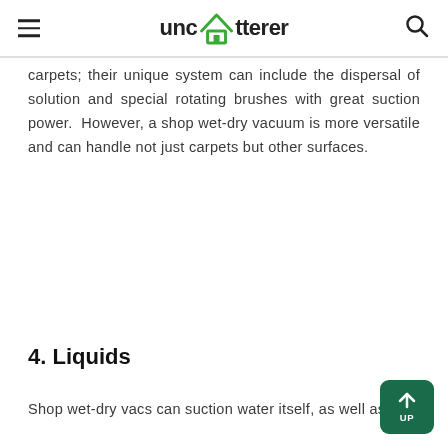unclutterer
carpets; their unique system can include the dispersal of solution and special rotating brushes with great suction power.  However, a shop wet-dry vacuum is more versatile and can handle not just carpets but other surfaces.
4. Liquids
Shop wet-dry vacs can suction water itself, as well as a